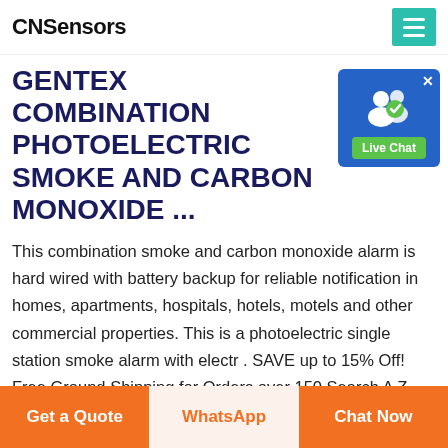CNSensors
GENTEX COMBINATION PHOTOELECTRIC SMOKE AND CARBON MONOXIDE ...
[Figure (screenshot): Live Chat widget button with blue background, white user icons, and green 'Live Chat' label button with an X close button]
This combination smoke and carbon monoxide alarm is hard wired with battery backup for reliable notification in homes, apartments, hospitals, hotels, motels and other commercial properties. This is a photoelectric single station smoke alarm with electr . SAVE up to 15% Off! Free Ground Shipping for Orders over 150 Search A Z here! Wishlist Login / Register 0 item Questions? We"ve ...
Get a Quote
WhatsApp
Chat Now